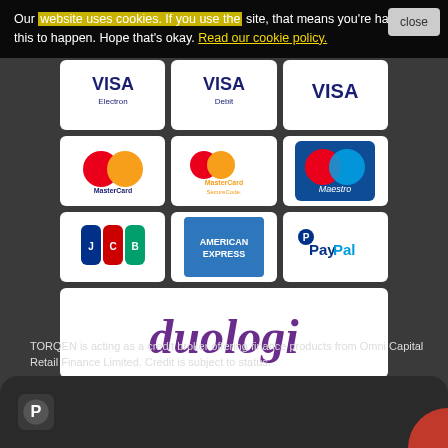Our website uses cookies. If you use the site, that means you're happy for this to happen. Hope that's okay. Read our cookie policy.
[Figure (logo): Payment method logos grid: Visa Electron, Visa Debit, Visa, MasterCard, MasterCard SecureCode, Maestro, JCB, American Express, PayPal, Duologi]
TORQEN is acting as a credit broker offering finance products from Omni Capital Retail Finance Limited. Credit is subject to status.
[Figure (logo): PayPal icon in bottom dark bar]